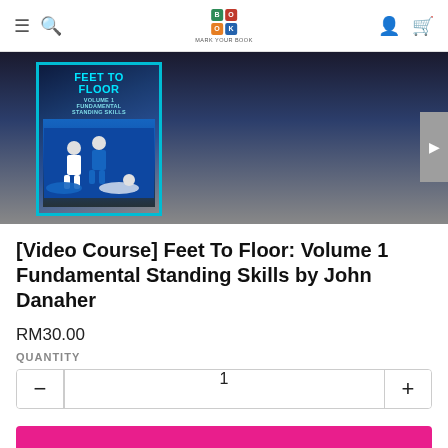Mark Your Book — navigation header with hamburger menu, search, logo, user icon, cart icon
[Figure (screenshot): Product thumbnail image for Feet To Floor Volume 1 video course with cyan border, showing martial arts BJJ grappling scenes on cover]
[Video Course] Feet To Floor: Volume 1 Fundamental Standing Skills by John Danaher
RM30.00
QUANTITY
1